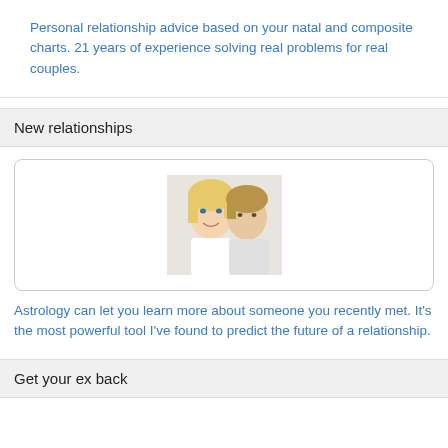Personal relationship advice based on your natal and composite charts. 21 years of experience solving real problems for real couples.
New relationships
[Figure (photo): Photo of a smiling blonde woman and a man with light brown hair, close together, shown from the shoulders up against a white background.]
Astrology can let you learn more about someone you recently met. It's the most powerful tool I've found to predict the future of a relationship.
Get your ex back